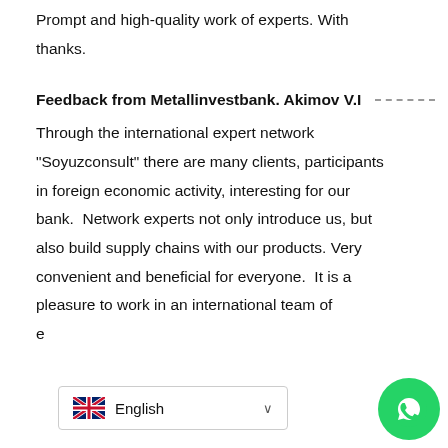Prompt and high-quality work of experts. With thanks.
Feedback from Metallinvestbank. Akimov V.I
Through the international expert network "Soyuzconsult" there are many clients, participants in foreign economic activity, interesting for our bank.  Network experts not only introduce us, but also build supply chains with our products. Very convenient and beneficial for everyone.  It is a pleasure to work in an international team of e
[Figure (screenshot): Language selector dropdown showing English with UK flag]
[Figure (logo): WhatsApp floating action button (green circle with phone handset icon)]